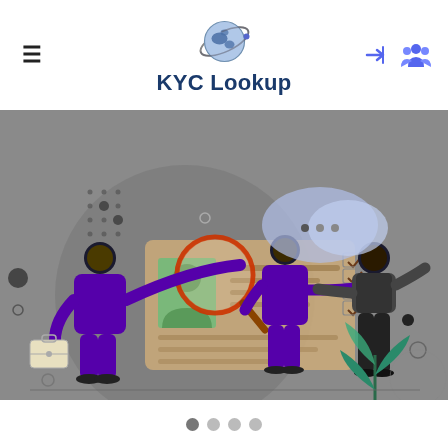KYC Lookup — website header with hamburger menu, globe logo, and nav icons
[Figure (illustration): Hero illustration showing KYC identity verification concept: two purple-suited figures shaking hands beside a large ID card/document with a magnifying glass, checklist, photo ID, and a teal plant decoration. Gray background with decorative dot-grid and abstract shapes.]
[Figure (other): Slider navigation dots: four circles, first one white/active, others gray.]